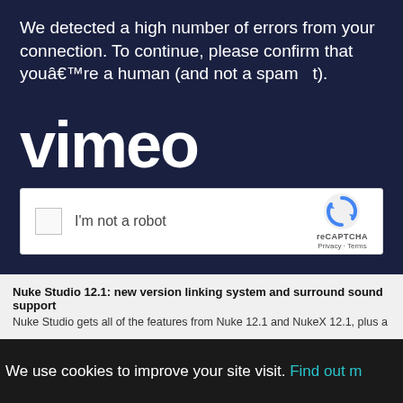We detected a high number of errors from your connection. To continue, please confirm that youâ€™re a human (and not a spambot).
[Figure (screenshot): reCAPTCHA checkbox widget with 'I'm not a robot' label and reCAPTCHA logo, Privacy and Terms links]
Nuke Studio 12.1: new version linking system and surround sound support
Nuke Studio gets all of the features from Nuke 12.1 and NukeX 12.1, plus a new v
We use cookies to improve your site visit. Find out m